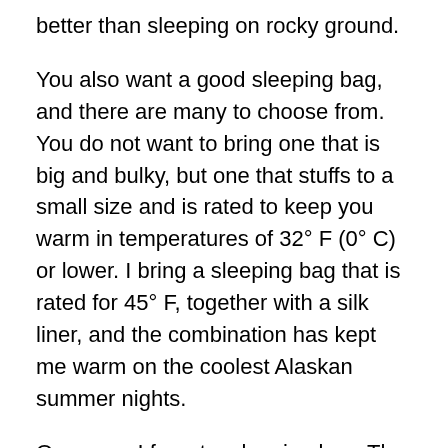better than sleeping on rocky ground.
You also want a good sleeping bag, and there are many to choose from. You do not want to bring one that is big and bulky, but one that stuffs to a small size and is rated to keep you warm in temperatures of 32° F (0° C) or lower. I bring a sleeping bag that is rated for 45° F, together with a silk liner, and the combination has kept me warm on the coolest Alaskan summer nights.
One year, I forgot a sleeping bag. The first problem was that the airlines lost my luggage. It was expected the following day, but my float plane was scheduled to leave that evening, and I could not wait. I made a trip to Sportsman's Warehouse, and purchased everything that I thought was in that suitcase, but forgot the sleeping bag! Of course, the first night was almost always the coldest, as